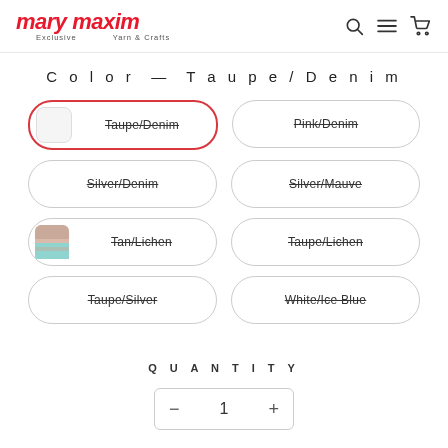[Figure (logo): Mary Maxim logo - red italic text with 'Exclusive Yarn & Crafts' subtitle]
[Figure (screenshot): Navigation icons: search, hamburger menu, shopping cart]
Color — Taupe/Denim
Taupe/Denim (selected, strikethrough)
Pink/Denim (strikethrough)
Silver/Denim (strikethrough)
Silver/Mauve (strikethrough)
Tan/Lichen (strikethrough, with yarn swatch)
Taupe/Lichen (strikethrough)
Taupe/Silver (strikethrough)
White/Ice Blue (strikethrough)
QUANTITY
- 1 +